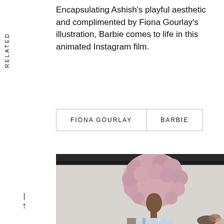Encapsulating Ashish's playful aesthetic and complimented by Fiona Gourlay's illustration, Barbie comes to life in this animated Instagram film.
FIONA GOURLAY
BARBIE
[Figure (photo): Fashion runway photo of a model wearing a large voluminous pink afro wig and a sparkling sequined dress, walking the runway with an audience visible in the background.]